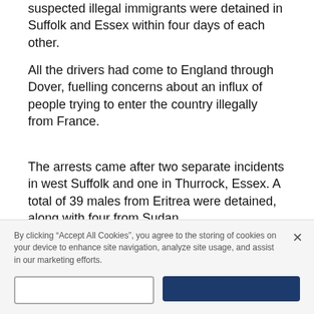suspected illegal immigrants were detained in Suffolk and Essex within four days of each other.
All the drivers had come to England through Dover, fuelling concerns about an influx of people trying to enter the country illegally from France.
The arrests came after two separate incidents in west Suffolk and one in Thurrock, Essex. A total of 39 males from Eritrea were detained, along with four from Sudan.
Suffolk Constabulary confirmed it handed 25 people to the Immigration Service after they were found in
By clicking “Accept All Cookies”, you agree to the storing of cookies on your device to enhance site navigation, analyze site usage, and assist in our marketing efforts.